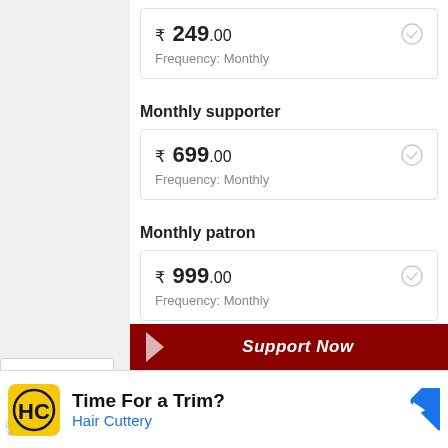₹ 249.00
Frequency: Monthly
Monthly supporter
₹ 699.00
Frequency: Monthly
Monthly patron
₹ 999.00
Frequency: Monthly
Support Now
[Figure (screenshot): Advertisement banner for Hair Cuttery with logo, text 'Time For a Trim?' and 'Hair Cuttery' in blue, and a blue navigation arrow icon]